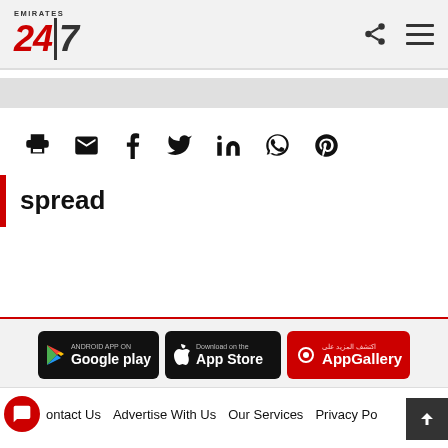EMIRATES 24|7
[Figure (screenshot): Ad banner placeholder (grey bar)]
[Figure (infographic): Social share icon row: print, email, facebook, twitter, linkedin, whatsapp, pinterest]
spread
[Figure (infographic): App download buttons: Android App on Google Play, Download on the App Store, AppGallery (Huawei)]
Contact Us   Advertise With Us   Our Services   Privacy Po...